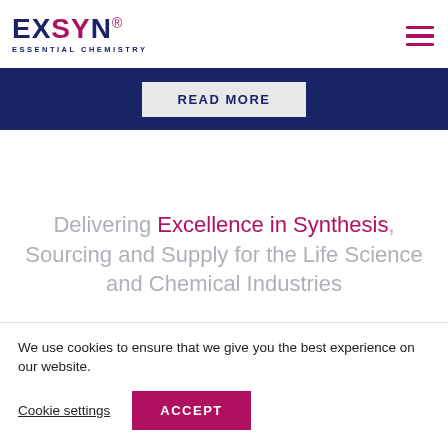[Figure (logo): EXSYN logo with tagline ESSENTIAL CHEMISTRY in dark navy blue, with S and Y characters in magenta/pink]
[Figure (other): Hamburger menu icon (three horizontal pink/magenta lines) in top right corner]
READ MORE
Delivering Excellence in Synthesis, Sourcing and Supply for the Life Science and Chemical Industries
We use cookies to ensure that we give you the best experience on our website.
Cookie settings
ACCEPT